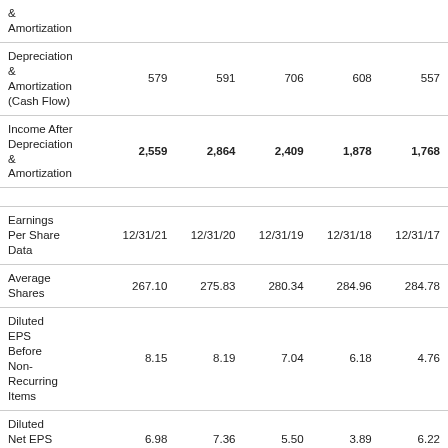|  | 12/31/21 | 12/31/20 | 12/31/19 | 12/31/18 | 12/31/17 |
| --- | --- | --- | --- | --- | --- |
| & Amortization |  |  |  |  |  |
| Depreciation & Amortization (Cash Flow) | 579 | 591 | 706 | 608 | 557 |
| Income After Depreciation & Amortization | 2,559 | 2,864 | 2,409 | 1,878 | 1,768 |
| Earnings Per Share Data | 12/31/21 | 12/31/20 | 12/31/19 | 12/31/18 | 12/31/17 |
| Average Shares | 267.10 | 275.83 | 280.34 | 284.96 | 284.78 |
| Diluted EPS Before Non-Recurring Items | 8.15 | 8.19 | 7.04 | 6.18 | 4.76 |
| Diluted Net EPS (GAAP) | 6.98 | 7.36 | 5.50 | 3.89 | 6.22 |
EPS Diluted (Quarterly)